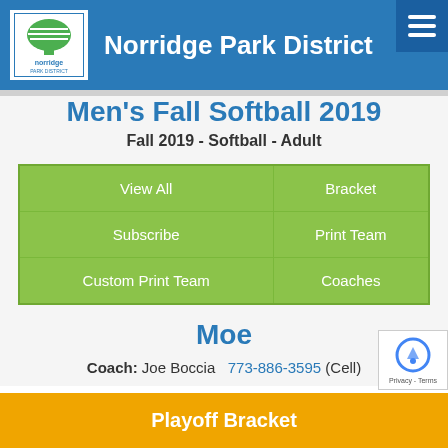Norridge Park District
Men's Fall Softball 2019
Fall 2019  -  Softball - Adult
| View All | Bracket |
| Subscribe | Print Team |
| Custom Print Team | Coaches |
Moe
Coach: Joe Boccia  773-886-3595 (Cell)
Playoff Bracket